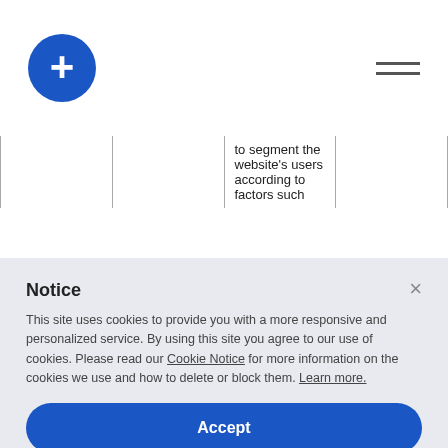[Figure (logo): Blue circle logo with white plus sign, and hamburger menu icon in top right]
|  |  | to segment the website's users according to factors such |  |
Notice
This site uses cookies to provide you with a more responsive and personalized service. By using this site you agree to our use of cookies. Please read our Cookie Notice for more information on the cookies we use and how to delete or block them. Learn more.
Accept
Learn more and customize